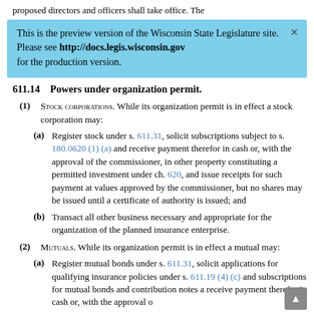proposed directors and officers shall take office. The
This is the preview version of the Wisconsin State Legislature site. Please see http://docs.legis.wisconsin.gov for the production version.
611.14    Powers under organization permit.
(1) Stock Corporations. While its organization permit is in effect a stock corporation may:
(a) Register stock under s. 611.31, solicit subscriptions subject to s. 180.0620 (1) (a) and receive payment therefor in cash or, with the approval of the commissioner, in other property constituting a permitted investment under ch. 620, and issue receipts for such payment at values approved by the commissioner, but no shares may be issued until a certificate of authority is issued; and
(b) Transact all other business necessary and appropriate for the organization of the planned insurance enterprise.
(2) Mutuals. While its organization permit is in effect a mutual may:
(a) Register mutual bonds under s. 611.31, solicit applications for qualifying insurance policies under s. 611.19 (4) (c) and subscriptions for mutual bonds and contribution notes a receive payment therefor in cash or, with the approval o